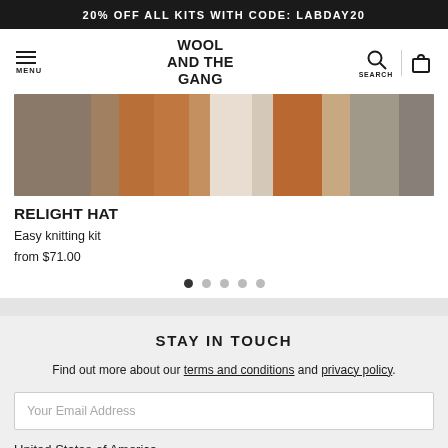20% OFF ALL KITS WITH CODE: LABDAY20
[Figure (logo): Wool and the Gang logo with hamburger menu, search and bag icons]
[Figure (photo): Close-up product photo showing a model wearing the Relight Hat, with red/auburn hair and knitwear in multiple colors]
RELIGHT HAT
Easy knitting kit
from $71.00
STAY IN TOUCH
Find out more about our terms and conditions and privacy policy.
Your Email Address
United States of America